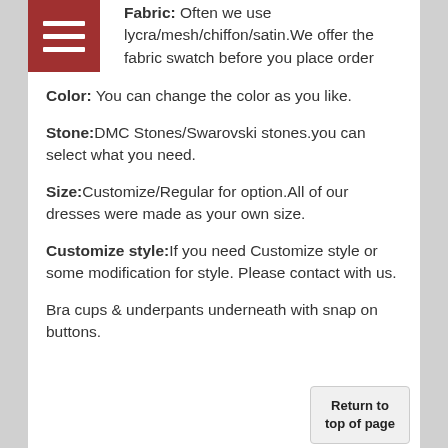Fabric: Often we use lycra/mesh/chiffon/satin.We offer the fabric swatch before you place order
Color: You can change the color as you like.
Stone:DMC Stones/Swarovski stones.you can select what you need.
Size:Customize/Regular for option.All of our dresses were made as your own size.
Customize style:If you need Customize style or some modification for style. Please contact with us.
Bra cups & underpants underneath with snap on buttons.
Return to top of page